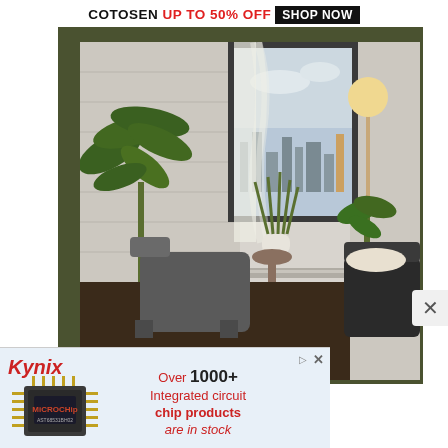[Figure (other): Top banner advertisement: COTOSEN UP TO 50% OFF [SHOP NOW button]]
[Figure (photo): Interior room photo showing a cozy sitting area with two dark armchairs, tropical plants, sheer curtains on a window overlooking a city skyline, white brick walls, and a floor lamp. Olive-green border frame around image.]
[Figure (other): Close button (X) on the right side of the page]
[Figure (other): Kynix advertisement: Over 1000+ Integrated circuit chip products are in stock, with Kynix logo and Microchip IC chip image]